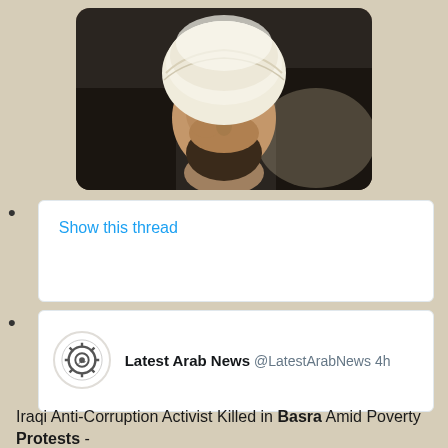[Figure (photo): Photo of a man wearing a white turban and beard, seated, looking to the side, in a dark interior setting]
Show this thread
Latest Arab News @LatestArabNews 4h
Iraqi Anti-Corruption Activist Killed in Basra Amid Poverty Protests -